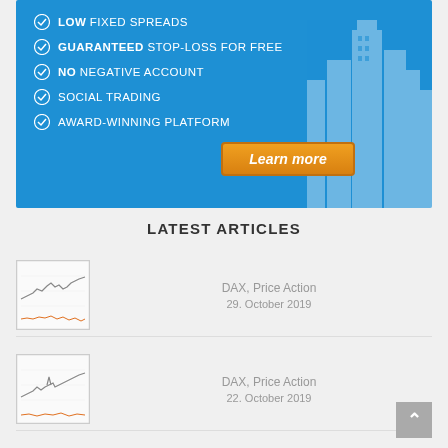[Figure (infographic): Blue banner advertisement with white checkmark list items: LOW FIXED SPREADS, GUARANTEED STOP-LOSS FOR FREE, NO NEGATIVE ACCOUNT, SOCIAL TRADING, AWARD-WINNING PLATFORM, with an orange 'Learn more' button and building silhouette in background]
LATEST ARTICLES
[Figure (line-chart): Small thumbnail of a financial price action chart (DAX)]
DAX, Price Action
29. October 2019
[Figure (line-chart): Small thumbnail of a financial price action chart (DAX)]
DAX, Price Action
22. October 2019